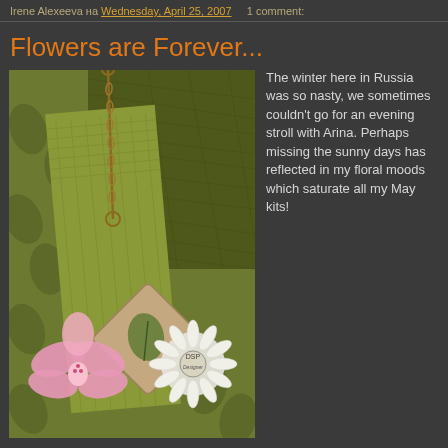Irene Alexeeva на Wednesday, April 25, 2007   1 comment:
Flowers are Forever...
[Figure (photo): Scrapbook collage with green floral textured fabrics, a pink orchid flower, a decorative tag with leaf motif, a white daisy, a chain and ring embellishment, and a DSP Designer badge/stamp on a green botanical background.]
The winter here in Russia was so nasty, we sometimes couldn't go for an evening stroll with Arina. Perhaps missing the sunny days has reflected in my floral moods which saturate all my May kits!